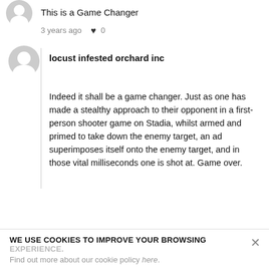This is a Game Changer
3 years ago ♥ 0
locust infested orchard inc
Indeed it shall be a game changer. Just as one has made a stealthy approach to their opponent in a first-person shooter game on Stadia, whilst armed and primed to take down the enemy target, an ad superimposes itself onto the enemy target, and in those vital milliseconds one is shot at. Game over.
WE USE COOKIES TO IMPROVE YOUR BROWSING EXPERIENCE. Find out more about our cookie policy here.